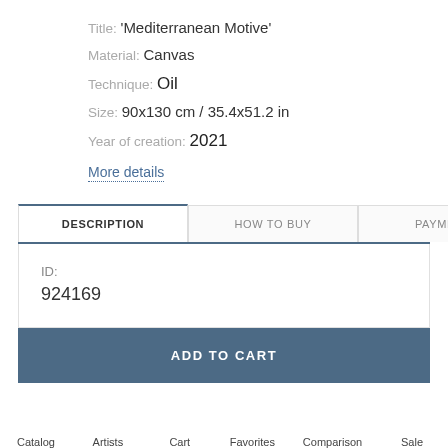Title: 'Mediterranean Motive'
Material: Canvas
Technique: Oil
Size: 90x130 cm / 35.4x51.2 in
Year of creation: 2021
More details
DESCRIPTION
HOW TO BUY
PAYMENT
ID:
924169
ADD TO CART
Catalog  Artists  Cart  Favorites  Comparison  Sale